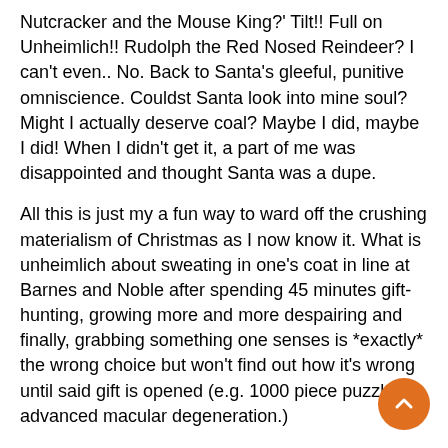Nutcracker and the Mouse King?' Tilt!! Full on Unheimlich!! Rudolph the Red Nosed Reindeer? I can't even.. No. Back to Santa's gleeful, punitive omniscience. Couldst Santa look into mine soul? Might I actually deserve coal? Maybe I did, maybe I did! When I didn't get it, a part of me was disappointed and thought Santa was a dupe.
All this is just my a fun way to ward off the crushing materialism of Christmas as I now know it. What is unheimlich about sweating in one's coat in line at Barnes and Noble after spending 45 minutes gift-hunting, growing more and more despairing and finally, grabbing something one senses is *exactly* the wrong choice but won't find out how it's wrong until said gift is opened (e.g. 1000 piece puzzle, advanced macular degeneration.)
…a short medley for Christmas:
-A Christmas Carol starring Alistair Sim, 1951
-bizarre short documentary: https://www.youtube.com/watch?v=q3xI8OAkzCU
-All the Great Pumpkin strips from Peanuts. In the excellent Duane Michaels biography of Charles M. Schulz, I learned that Schulz conceived The Great Pumpkin as a parody of Santa and Christmas commercialism. Pairs nicely with Lionel Trillin's Sincerity and Authenticity: The Brothers Kara...